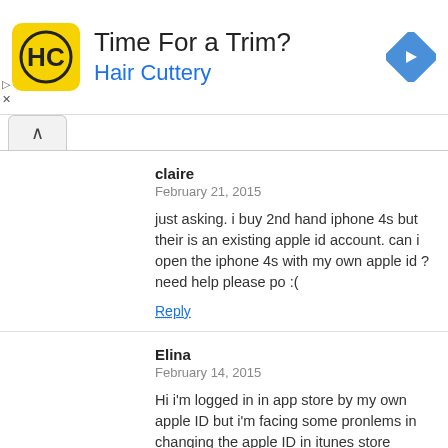[Figure (advertisement): Hair Cuttery ad banner with yellow HC logo, text 'Time For a Trim?' and 'Hair Cuttery', and a blue diamond arrow icon on the right.]
claire
February 21, 2015

just asking. i buy 2nd hand iphone 4s but their is an existing apple id account. can i open the iphone 4s with my own apple id ? need help please po :(

Reply
Elina
February 14, 2015

Hi i'm logged in in app store by my own apple ID but i'm facing some pronlems in changing the apple ID in itunes store becuase of that i can't update any apps on my iphone
I already sighned out once and start over but it didn't work out
Please help me i really don't know what to do

Reply